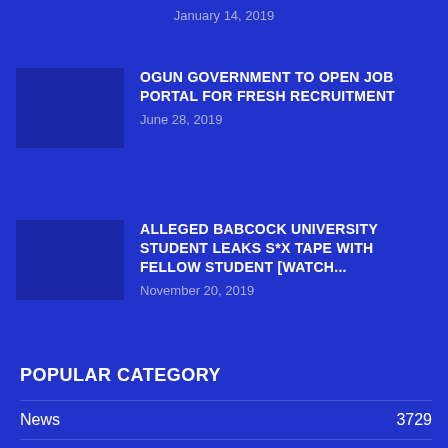January 14, 2019
OGUN GOVERNMENT TO OPEN JOB PORTAL FOR FRESH RECRUITMENT
June 28, 2019
ALLEGED BABCOCK UNIVERSITY STUDENT LEAKS S*X TAPE WITH FELLOW STUDENT [WATCH...
November 20, 2019
POPULAR CATEGORY
News  3729
Health  415
Security  379
Ogun State  312
Metro  218